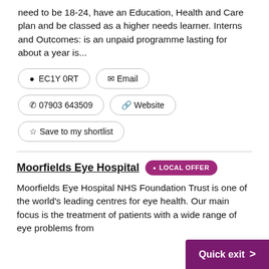need to be 18-24, have an Education, Health and Care plan and be classed as a higher needs learner. Interns and Outcomes: is an unpaid programme lasting for about a year is...
EC1Y 0RT
Email
07903 643509
Website
Save to my shortlist
Moorfields Eye Hospital LOCAL OFFER
Moorfields Eye Hospital NHS Foundation Trust is one of the world's leading centres for eye health. Our main focus is the treatment of patients with a wide range of eye problems from